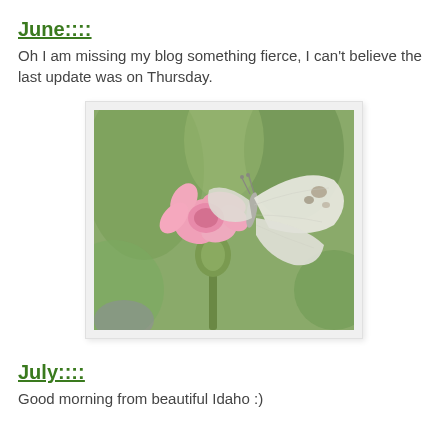June::::
Oh I am missing my blog something fierce, I can't believe the last update was on Thursday.
[Figure (photo): A white butterfly perched on a pink flower with green blurred background]
July::::
Good morning from beautiful Idaho :)